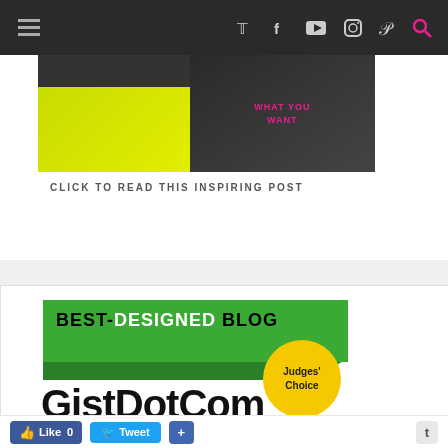[Figure (screenshot): Website navigation bar with hamburger menu and social media icons (Twitter, Facebook, YouTube, Instagram, Pinterest, Search)]
[Figure (photo): Person in yellow shirt holding a phone, with text overlay]
CLICK TO READ THIS INSPIRING POST
[Figure (logo): Best-Designed Blog award badge with green banner and Judges' Choice yellow circle, with GistDotCom text below]
Like 0  Tweet  +  t